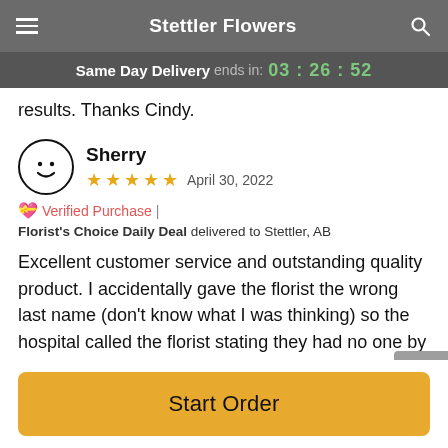Stettler Flowers
Same Day Delivery ends in: 03 : 26 : 52
results. Thanks Cindy.
Sherry
★★★★★ April 30, 2022
Verified Purchase | Florist's Choice Daily Deal delivered to Stettler, AB
Excellent customer service and outstanding quality product. I accidentally gave the florist the wrong last name (don't know what I was thinking) so the hospital called the florist stating they had no one by that name and they needed to pickup the flowers. The florist picked up the flowers and
Start Order